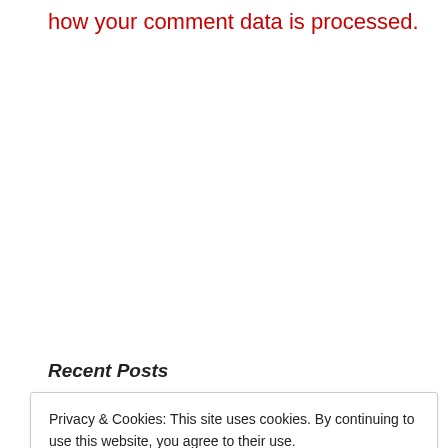how your comment data is processed.
Search ...
Recent Posts
Privacy & Cookies: This site uses cookies. By continuing to use this website, you agree to their use.
To find out more, including how to control cookies, see here: Cookie Policy
Close and accept